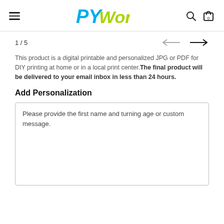PYWorld — navigation header with hamburger menu, logo, search and cart icons
1 / 5
This product is a digital printable and personalized JPG or PDF for DIY printing at home or in a local print center. The final product will be delivered to your email inbox in less than 24 hours.
Add Personalization
Please provide the first name and turning age or custom message.